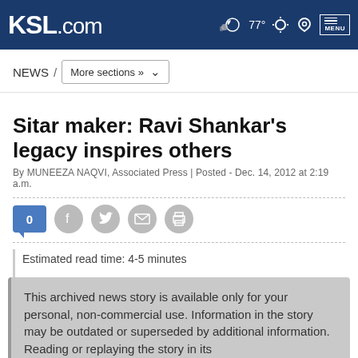KSL.com  77° MENU
NEWS / More sections »
Sitar maker: Ravi Shankar's legacy inspires others
By MUNEEZA NAQVI, Associated Press | Posted - Dec. 14, 2012 at 2:19 a.m.
Estimated read time: 4-5 minutes
This archived news story is available only for your personal, non-commercial use. Information in the story may be outdated or superseded by additional information. Reading or replaying the story in its